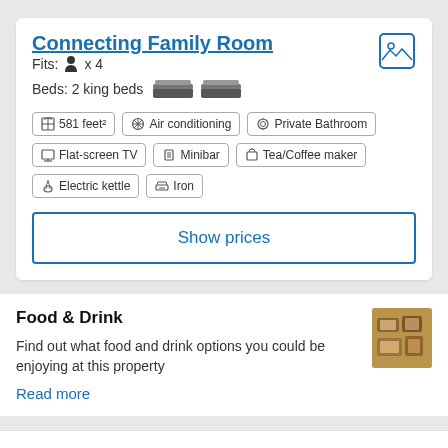Connecting Family Room
Fits: x 4
Beds: 2 king beds
581 feet² | Air conditioning | Private Bathroom | Flat-screen TV | Minibar | Tea/Coffee maker | Electric kettle | Iron
Show prices
Food & Drink
Find out what food and drink options you could be enjoying at this property
Read more
Property amenities